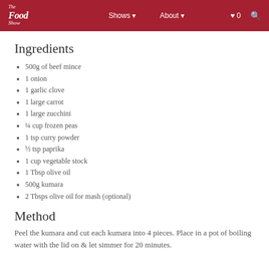The Food Show | Shows | About | 0 | Search
Ingredients
500g of beef mince
1 onion
1 garlic clove
1 large carrot
1 large zucchini
¼ cup frozen peas
1 tsp curry powder
½ tsp paprika
1 cup vegetable stock
1 Tbsp olive oil
500g kumara
2 Tbsps olive oil for mash (optional)
Method
Peel the kumara and cut each kumara into 4 pieces. Place in a pot of boiling water with the lid on & let simmer for 20 minutes.